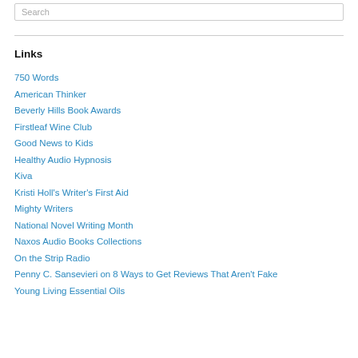Links
750 Words
American Thinker
Beverly Hills Book Awards
Firstleaf Wine Club
Good News to Kids
Healthy Audio Hypnosis
Kiva
Kristi Holl's Writer's First Aid
Mighty Writers
National Novel Writing Month
Naxos Audio Books Collections
On the Strip Radio
Penny C. Sansevieri on 8 Ways to Get Reviews That Aren't Fake
Young Living Essential Oils